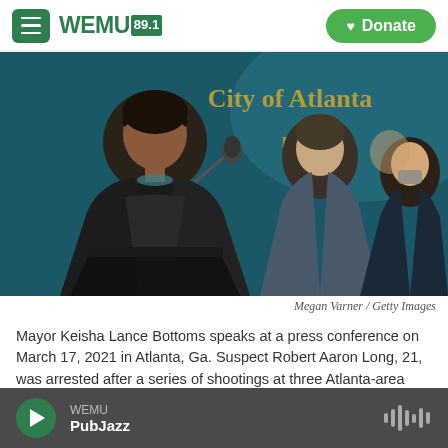WEMU 89.1 | Donate
[Figure (photo): Mayor Keisha Lance Bottoms speaks at a podium at a press conference. City of Atlanta signage visible on teal wall in background. Several officials visible behind her.]
Megan Varner / Getty Images
Mayor Keisha Lance Bottoms speaks at a press conference on March 17, 2021 in Atlanta, Ga. Suspect Robert Aaron Long, 21, was arrested after a series of shootings at three Atlanta-area spas left eight people dead in March 2021, including six Asian women.
Updated June 16, 2022 at 10:48 AM ET
WEMU PubJazz